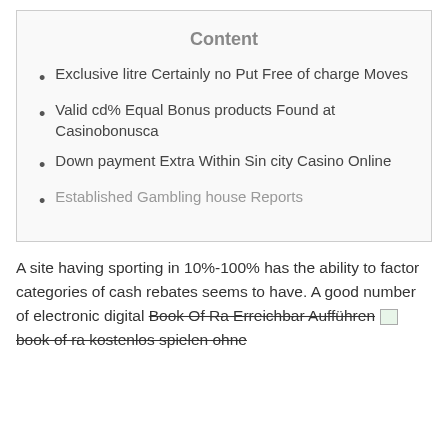Content
Exclusive litre Certainly no Put Free of charge Moves
Valid cd% Equal Bonus products Found at Casinobonusca
Down payment Extra Within Sin city Casino Online
Established Gambling house Reports
A site having sporting in 10%-100% has the ability to factor categories of cash rebates seems to have. A good number of electronic digital Book Of Ra Erreichbar Aufführen [image] book of ra kostenlos spielen ohne